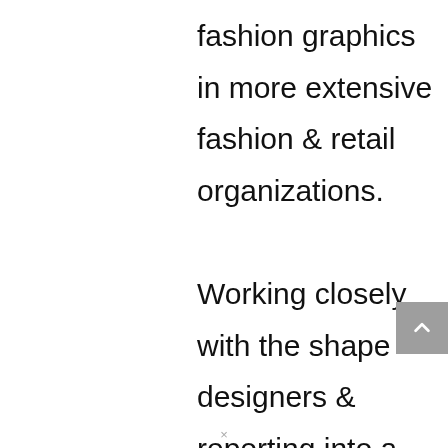fashion graphics in more extensive fashion & retail organizations.

Working closely with the shape designers & reporting into a fashion design manager or director, a fashion graphic designer would be predominantly responsible for